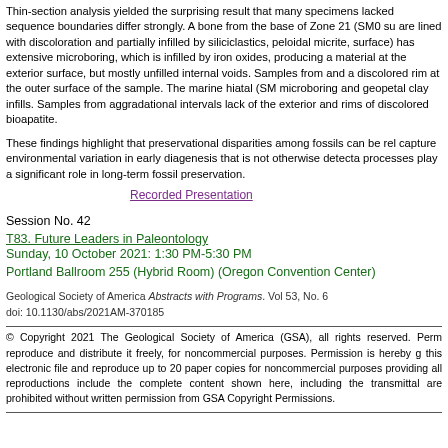Thin-section analysis yielded the surprising result that many specimens lacked sequence boundaries differ strongly. A bone from the base of Zone 21 (SM0 su are lined with discoloration and partially infilled by siliciclastics, peloidal micrite, surface) has extensive microboring, which is infilled by iron oxides, producing a material at the exterior surface, but mostly unfilled internal voids. Samples from and a discolored rim at the outer surface of the sample. The marine hiatal (SMT microboring and geopetal clay infills. Samples from aggradational intervals lack of the exterior and rims of discolored bioapatite.
These findings highlight that preservational disparities among fossils can be rel capture environmental variation in early diagenesis that is not otherwise detecta processes play a significant role in long-term fossil preservation.
Recorded Presentation
Session No. 42
T83. Future Leaders in Paleontology
Sunday, 10 October 2021: 1:30 PM-5:30 PM
Portland Ballroom 255 (Hybrid Room) (Oregon Convention Center)
Geological Society of America Abstracts with Programs. Vol 53, No. 6
doi: 10.1130/abs/2021AM-370185
© Copyright 2021 The Geological Society of America (GSA), all rights reserved. Permission is hereby granted to the author(s) of this abstract to reproduce and distribute it freely, for noncommercial purposes. Permission is hereby granted to any individual scientist to download a single copy of this electronic file and reproduce up to 20 paper copies for noncommercial purposes advancing science and education, including classroom use, providing all reproductions include the complete content shown here, including the author information. All other forms of reproduction and/or transmittal are prohibited without written permission from GSA Copyright Permissions.